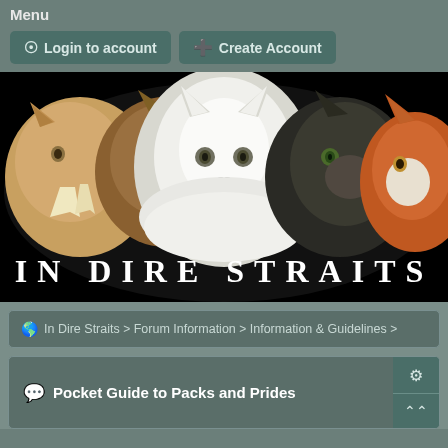Menu
Login to account
Create Account
[Figure (illustration): In Dire Straits website banner showing illustrated animal heads (sabertooth, hyena/cat, white wolf, dark wolf/dog, fox) on black background with text 'IN DIRE STRAITS' below]
In Dire Straits > Forum Information > Information & Guidelines >
Pocket Guide to Packs and Prides